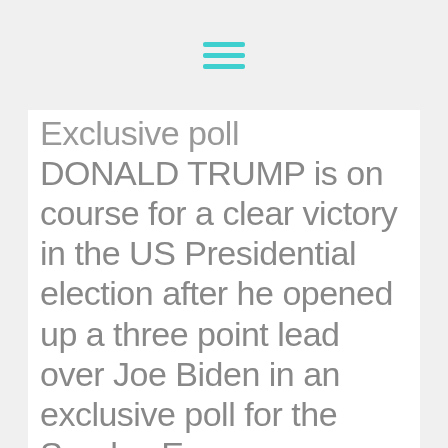[hamburger menu icon]
Exclusive poll DONALD TRUMP is on course for a clear victory in the US Presidential election after he opened up a three point lead over Joe Biden in an exclusive poll for the Sunday Express.
Read the full story
According to the latest monthly Democracy Institute (DI)/